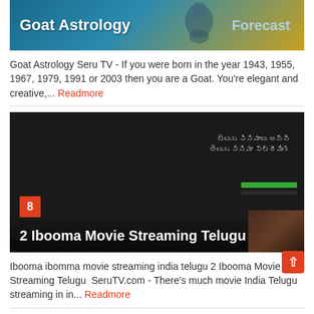[Figure (screenshot): Goat Astrology banner with teal/blue background, white bold text 'Goat Astrology' on left, 'Forecast' in light blue on right]
Goat Astrology Seru TV - If you were born in the year 1943, 1955, 1967, 1979, 1991 or 2003 then you are a Goat. You're elegant and creative,... Readmore
[Figure (screenshot): Dark background streaming website screenshot with badge number 8 in orange-red square, title '2 Ibooma Movie Streaming Telugu' overlaid at bottom]
Ibooma ibomma movie streaming india telugu 2 Ibooma Movie Streaming Telugu  SeruTV.com - There's much movie India Telugu streaming in in... Readmore
[Figure (screenshot): Partial image showing a mix of light grey, blue and dark tones at the bottom of the page]